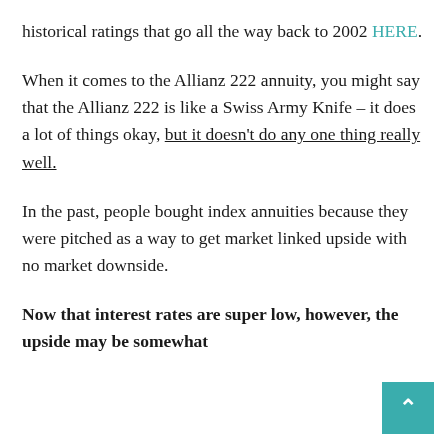historical ratings that go all the way back to 2002 HERE.
When it comes to the Allianz 222 annuity, you might say that the Allianz 222 is like a Swiss Army Knife – it does a lot of things okay, but it doesn't do any one thing really well.
In the past, people bought index annuities because they were pitched as a way to get market linked upside with no market downside.
Now that interest rates are super low, however, the upside may be somewhat